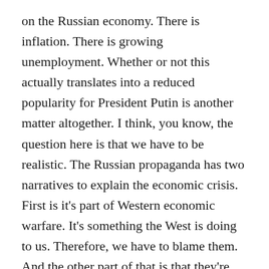on the Russian economy. There is inflation. There is growing unemployment. Whether or not this actually translates into a reduced popularity for President Putin is another matter altogether. I think, you know, the question here is that we have to be realistic. The Russian propaganda has two narratives to explain the economic crisis. First is it's part of Western economic warfare. It's something the West is doing to us. Therefore, we have to blame them. And the other part of that is that they're saying, well, this is part of a global economic crisis.
FADEL: Right.
RADCHENKO: So yes, we have high inflation. But this is also that they're - something they're experiencing in the West, as well, in the United States, et cetera. And the argument